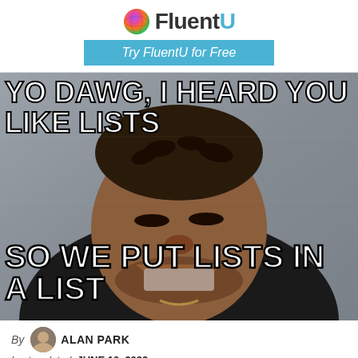[Figure (logo): FluentU logo with colorful globe icon and dark text with blue U]
Try FluentU for Free
[Figure (photo): Yo Dawg meme: man laughing with text 'YO DAWG, I HEARD YOU LIKE LISTS' at top and 'SO WE PUT LISTS IN A LIST' at bottom]
By ALAN PARK
Last updated: JUNE 10, 2022